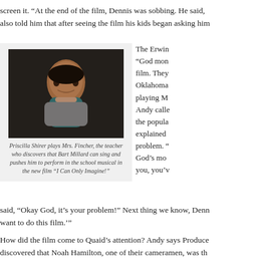screen it. “At the end of the film, Dennis was sobbing. He said, also told him that after seeing the film his kids began asking him
[Figure (photo): Photo of Priscilla Shirer playing Mrs. Fincher, a teacher character, looking upward with a slight smile, wearing a teal top and scarf, in a dark interior setting.]
Priscilla Shirer plays Mrs. Fincher, the teacher who discovers that Bart Millard can sing and pushes him to perform in the school musical in the new film “I Can Only Imagine!”
The Erwin “God mon film. They Oklahoma playing M Andy calle the popula explained problem. “ God’s mo you, you’v
said, “Okay God, it’s your problem!” Next thing we know, Denn want to do this film.’”
How did the film come to Quaid’s attention? Andy says Produce discovered that Noah Hamilton, one of their cameramen, was th